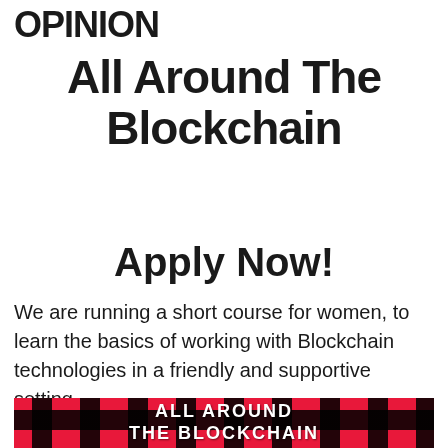OPINION
All Around The Blockchain
Apply Now!
We are running a short course for women, to learn the basics of working with Blockchain technologies in a friendly and supportive setting.
[Figure (illustration): Pink and black tartan plaid pattern with white text reading ALL AROUND THE BLOCKCHAIN]